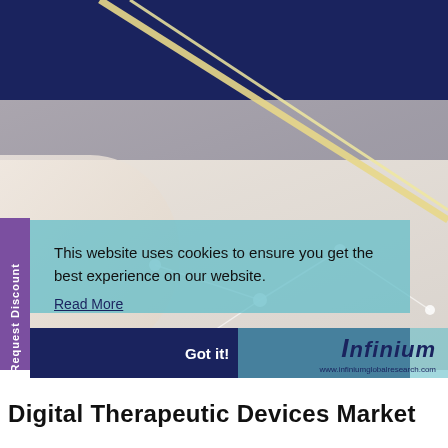[Figure (illustration): Cover page of a market research report. Top section shows dark navy blue background with diagonal yellow accent lines. Below is a background of illustrated business/strategy sketches (lightbulb, charts, arrows, team diagrams) on a light beige background, with a hand visible at lower left. A purple vertical tab on the left reads 'Request Discount'. A semi-transparent teal cookie consent overlay reads: 'This website uses cookies to ensure you get the best experience on our website. Read More'. Below is a dark navy bar with 'Got it!' button text and the Infinium Global Research logo with website URL.]
This website uses cookies to ensure you get the best experience on our website.
Read More
Got it!
Infinium
www.infiniumglobalresearch.com
Digital Therapeutic Devices Market